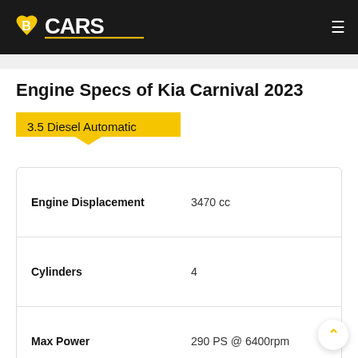BCARS
Engine Specs of Kia Carnival 2023
3.5 Diesel Automatic
| Specification | Value |
| --- | --- |
| Engine Displacement | 3470 cc |
| Cylinders | 4 |
| Max Power | 290 PS @ 6400rpm |